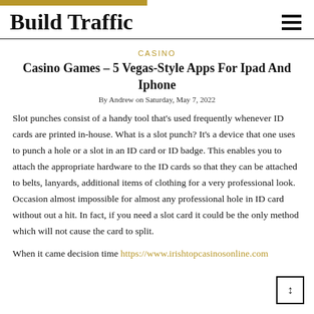Build Traffic
CASINO
Casino Games – 5 Vegas-Style Apps For Ipad And Iphone
By Andrew on Saturday, May 7, 2022
Slot punches consist of a handy tool that's used frequently whenever ID cards are printed in-house. What is a slot punch? It's a device that one uses to punch a hole or a slot in an ID card or ID badge. This enables you to attach the appropriate hardware to the ID cards so that they can be attached to belts, lanyards, additional items of clothing for a very professional look. Occasion almost impossible for almost any professional hole in ID card without out a hit. In fact, if you need a slot card it could be the only method which will not cause the card to split.
When it came decision time https://www.irishtopcasinosonline.com